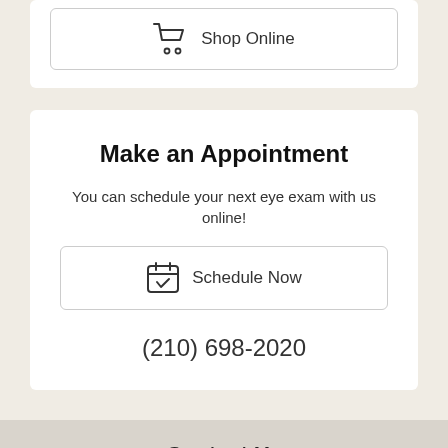Shop Online
Make an Appointment
You can schedule your next eye exam with us online!
Schedule Now
(210) 698-2020
Contact Us